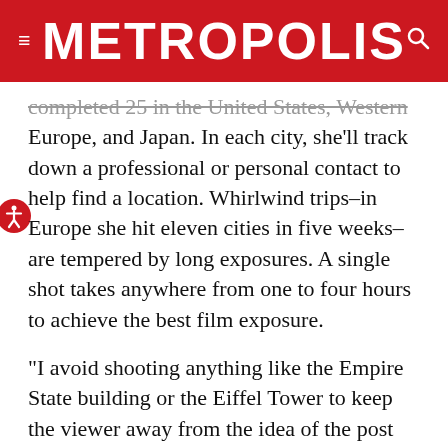METROPOLIS
completed 25 in the United States, Western Europe, and Japan. In each city, she’ll track down a professional or personal contact to help find a location. Whirlwind trips–in Europe she hit eleven cities in five weeks–are tempered by long exposures. A single shot takes anywhere from one to four hours to achieve the best film exposure.
“I avoid shooting anything like the Empire State building or the Eiffel Tower to keep the viewer away from the idea of the post card, or from thinking too specifically about the